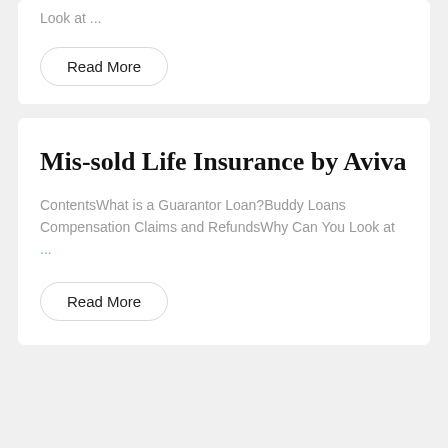Look at …
Read More
Mis-sold Life Insurance by Aviva
ContentsWhat is a Guarantor Loan?Buddy Loans Compensation Claims and RefundsWhy Can You Look at …
Read More